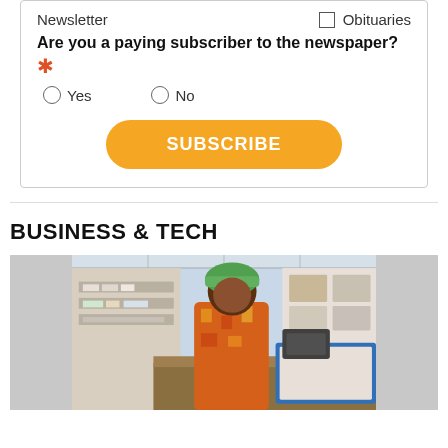Newsletter   ☐ Obituaries
Are you a paying subscriber to the newspaper?
* (required)
○ Yes   ○ No
SUBSCRIBE
BUSINESS & TECH
[Figure (photo): A woman wearing a colorful orange outfit and green head wrap working at a counter/register inside a store with shelves of products and photos/posters on the wall behind her.]